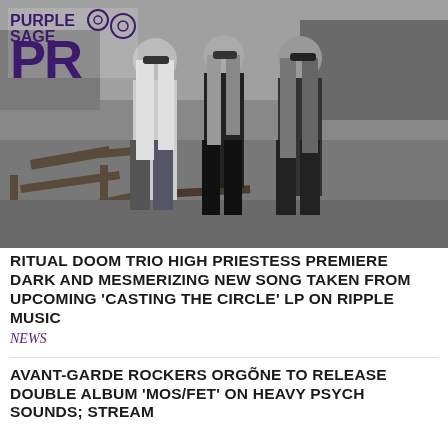PURPLE SAGE PR
[Figure (photo): Black and white photo of three women with long hair wearing sunglasses standing in what appears to be a cemetery or field with wooden structures, trees in the background.]
RITUAL DOOM TRIO HIGH PRIESTESS PREMIERE DARK AND MESMERIZING NEW SONG TAKEN FROM UPCOMING 'CASTING THE CIRCLE' LP ON RIPPLE MUSIC
NEWS
AVANT-GARDE ROCKERS ORGÕNE TO RELEASE DOUBLE ALBUM 'MOS/FET' ON HEAVY PSYCH SOUNDS; STREAM